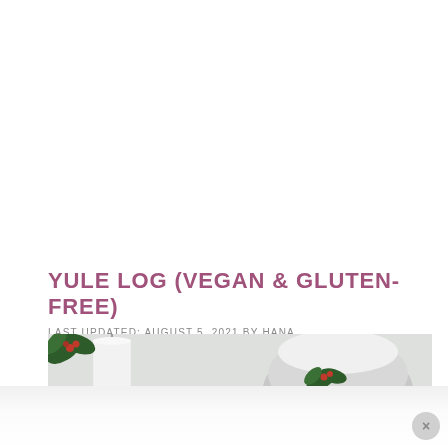YULE LOG (VEGAN & GLUTEN-FREE)
LAST UPDATED: AUGUST 5, 2021 BY HANA
[Figure (photo): Photo of a yule log cake decorated with holly leaves and powdered sugar, with white candles in the background on a light surface]